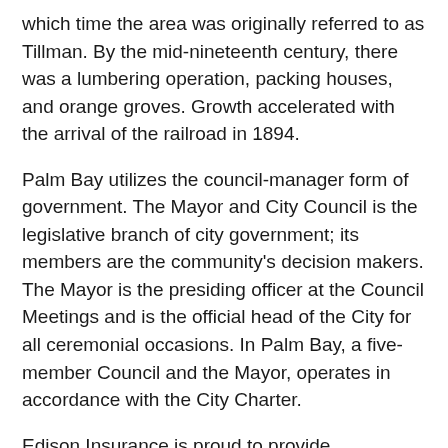which time the area was originally referred to as Tillman. By the mid-nineteenth century, there was a lumbering operation, packing houses, and orange groves. Growth accelerated with the arrival of the railroad in 1894.
Palm Bay utilizes the council-manager form of government. The Mayor and City Council is the legislative branch of city government; its members are the community's decision makers. The Mayor is the presiding officer at the Council Meetings and is the official head of the City for all ceremonial occasions. In Palm Bay, a five-member Council and the Mayor, operates in accordance with the City Charter.
Edison Insurance is proud to provide exceptional homeowner insurance coverage to homeowners living in the Palm Bay area. If you are interested in receiving more information about our homeowners insurance, simply click on the GET A QUOTE button at the top of the page and fill out our FL home insurance quote.